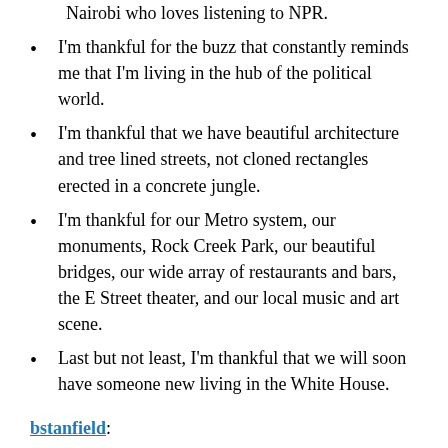Nairobi who loves listening to NPR.
I'm thankful for the buzz that constantly reminds me that I'm living in the hub of the political world.
I'm thankful that we have beautiful architecture and tree lined streets, not cloned rectangles erected in a concrete jungle.
I'm thankful for our Metro system, our monuments, Rock Creek Park, our beautiful bridges, our wide array of restaurants and bars, the E Street theater, and our local music and art scene.
Last but not least, I'm thankful that we will soon have someone new living in the White House.
bstanfield:
The Electronic Frontier Foundation
The American Civil Liberties Union (even when I disagree with them)
The National Rifle Association (even when I disagree with them)